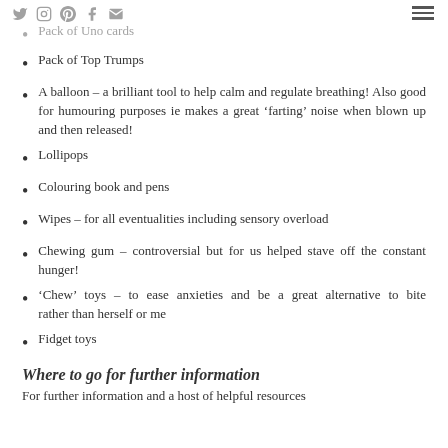[social icons] [hamburger menu]
Pack of Uno cards
Pack of Top Trumps
A balloon – a brilliant tool to help calm and regulate breathing! Also good for humouring purposes ie makes a great 'farting' noise when blown up and then released!
Lollipops
Colouring book and pens
Wipes – for all eventualities including sensory overload
Chewing gum – controversial but for us helped stave off the constant hunger!
'Chew' toys – to ease anxieties and be a great alternative to bite rather than herself or me
Fidget toys
Where to go for further information
For further information and a host of helpful resources